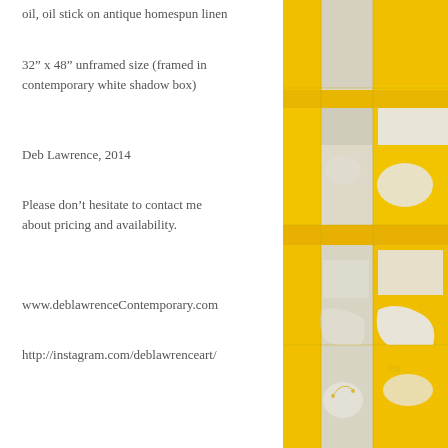oil, oil stick on antique homespun linen
32" x 48" unframed size (framed in contemporary white shadow box)
Deb Lawrence, 2014
Please don’t hesitate to contact me about pricing and availability.
www.deblawrenceContemporary.com
http://instagram.com/deblawrenceart/
[Figure (photo): Close-up photograph of abstract artwork with yellow and white/cream patches on textured antique linen, with stitched lines visible]